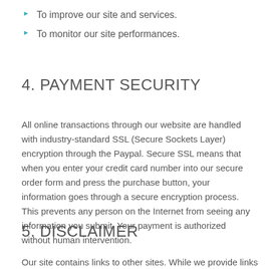To improve our site and services.
To monitor our site performances.
4. PAYMENT SECURITY
All online transactions through our website are handled with industry-standard SSL (Secure Sockets Layer) encryption through the Paypal. Secure SSL means that when you enter your credit card number into our secure order form and press the purchase button, your information goes through a secure encryption process. This prevents any person on the Internet from seeing any information you submit. Your payment is authorized without human intervention.
5. DISCLAIMER
Our site contains links to other sites. While we provide links to them, we are